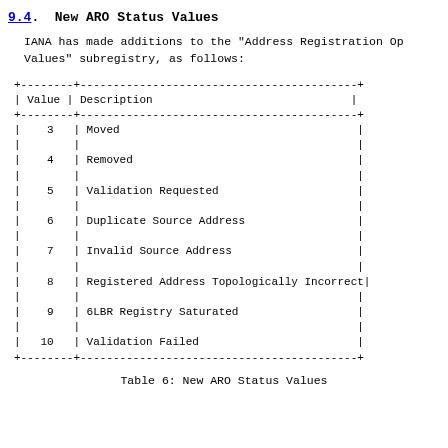9.4.  New ARO Status Values
IANA has made additions to the "Address Registration Op Values" subregistry, as follows:
| Value | Description |
| --- | --- |
| 3 | Moved |
| 4 | Removed |
| 5 | Validation Requested |
| 6 | Duplicate Source Address |
| 7 | Invalid Source Address |
| 8 | Registered Address Topologically Incorrect |
| 9 | 6LBR Registry Saturated |
| 10 | Validation Failed |
Table 6: New ARO Status Values